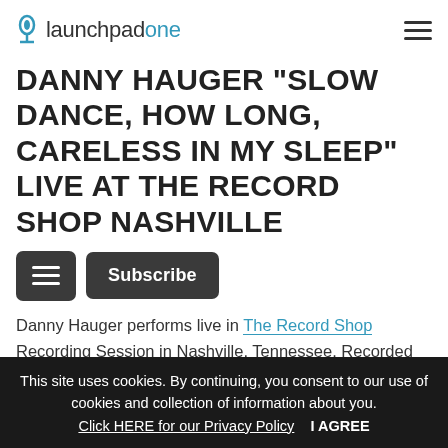launchpadone
DANNY HAUGER "SLOW DANCE, HOW LONG, CARELESS IN MY SLEEP" LIVE AT THE RECORD SHOP NASHVILLE
Danny Hauger performs live in The Record Shop Recording Session in Nashville, Tennessee. Recorded live in March of 2019, Danny Hauger plays three original songs. I had a great time meeting the team, exploring the studio, and
This site uses cookies. By continuing, you consent to our use of cookies and collection of information about you. Click HERE for our Privacy Policy   I AGREE